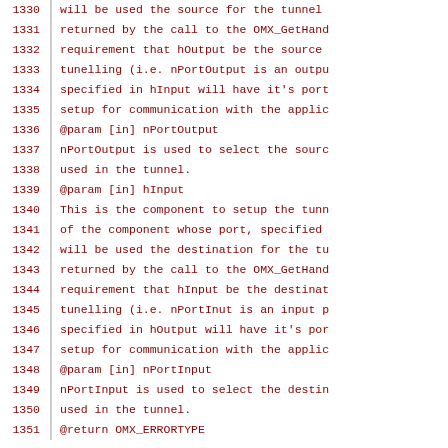Code listing lines 1330-1351 showing API documentation comments for OMX tunnel setup function parameters including nPortOutput, hInput, nPortInput, and return type OMX_ERRORTYPE